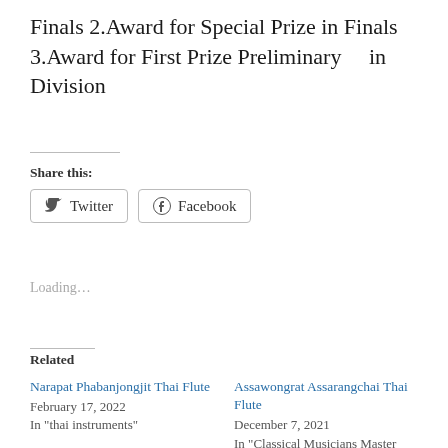Finals 2.Award for Special Prize in Finals 3.Award for First Prize Preliminary    in Division
Share this:
Twitter
Facebook
Loading...
Related
Narapat Phabanjongjit Thai Flute
February 17, 2022
In "thai instruments"
Assawongrat Assarangchai Thai Flute
December 7, 2021
In "Classical Musicians Master Classes Concert Series"